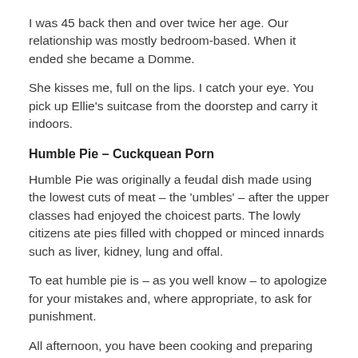I was 45 back then and over twice her age. Our relationship was mostly bedroom-based. When it ended she became a Domme.
She kisses me, full on the lips. I catch your eye. You pick up Ellie's suitcase from the doorstep and carry it indoors.
Humble Pie – Cuckquean Porn
Humble Pie was originally a feudal dish made using the lowest cuts of meat – the 'umbles' – after the upper classes had enjoyed the choicest parts. The lowly citizens ate pies filled with chopped or minced innards such as liver, kidney, lung and offal.
To eat humble pie is – as you well know – to apologize for your mistakes and, where appropriate, to ask for punishment.
All afternoon, you have been cooking and preparing dinner. Two dinners. Ours, made with the finest